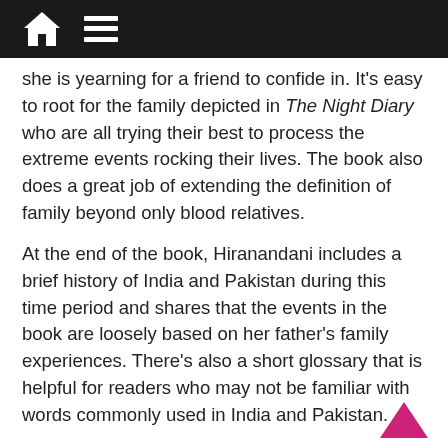Navigation bar with home and menu icons
she is yearning for a friend to confide in. It's easy to root for the family depicted in The Night Diary who are all trying their best to process the extreme events rocking their lives. The book also does a great job of extending the definition of family beyond only blood relatives.
At the end of the book, Hiranandani includes a brief history of India and Pakistan during this time period and shares that the events in the book are loosely based on her father's family experiences. There's also a short glossary that is helpful for readers who may not be familiar with words commonly used in India and Pakistan.
I would recommend both Blood Water Paint and The Night Diary to both teens and adults. Both heroines show amazing bravery and resilience under circumstances that historically took places many years ago, but the issues the girls face – violence, misogyny,